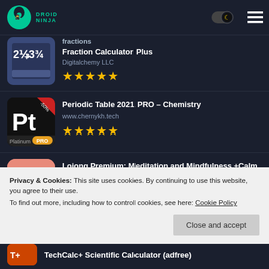DROID NINJA
Fraction Calculator Plus
Digitalchemy LLC
★★★★★
Periodic Table 2021 PRO – Chemistry
www.chernykh.tech
★★★★★
Lojong Premium: Meditation and Mindfulness +Calm - Anxiety
Lojong Meditation Mindfulness and Sleep
Privacy & Cookies: This site uses cookies. By continuing to use this website, you agree to their use.
To find out more, including how to control cookies, see here: Cookie Policy
TechCalc+ Scientific Calculator (adfree)